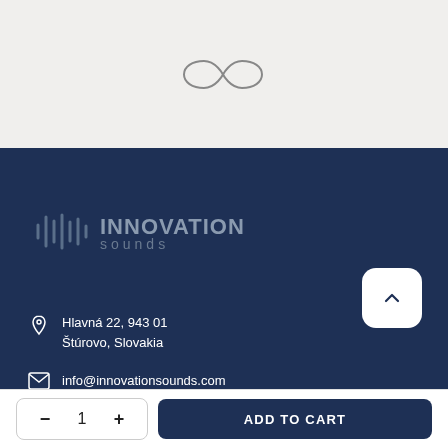[Figure (logo): Infinity/loop symbol icon in thin line style on light gray background]
[Figure (logo): Innovation Sounds brand logo with sound wave bars and text 'INNOVATION sounds' on dark navy background]
Hlavná 22, 943 01
Štúrovo, Slovakia
info@innovationsounds.com
– 1 +  ADD TO CART